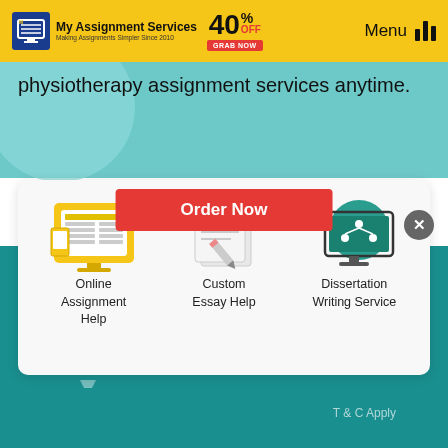My Assignment Services – Making Assignments Simpler Since 2010 | 40% OFF | GRAB NOW | Menu
physiotherapy assignment services anytime.
[Figure (illustration): Online Assignment Help icon – computer with document/table on screen, yellow background]
[Figure (illustration): Custom Essay Help icon – papers with pen/pencil, gray/white]
[Figure (illustration): Dissertation Writing Service icon – computer with tree/network diagram, teal background]
Online Assignment Help
Custom Essay Help
Dissertation Writing Service
Order Now
Flat 40% OFF
Grab Now
T & C Apply